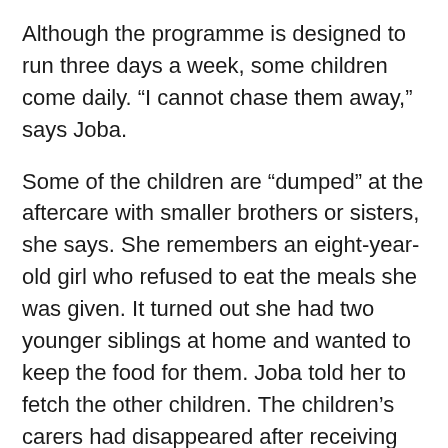Although the programme is designed to run three days a week, some children come daily. “I cannot chase them away,” says Joba.
Some of the children are “dumped” at the aftercare with smaller brothers or sisters, she says. She remembers an eight-year-old girl who refused to eat the meals she was given. It turned out she had two younger siblings at home and wanted to keep the food for them. Joba told her to fetch the other children. The children’s carers had disappeared after receiving their grant money. Joba reported the case to the police and social workers.
Apart from the foster care grants, she gets some money from a home she rents out, but it isn’t enough. “ If it wasn’t for [non-profit organisation] Ikamva Labantu, I don’t know what I would do.”
“But when they...